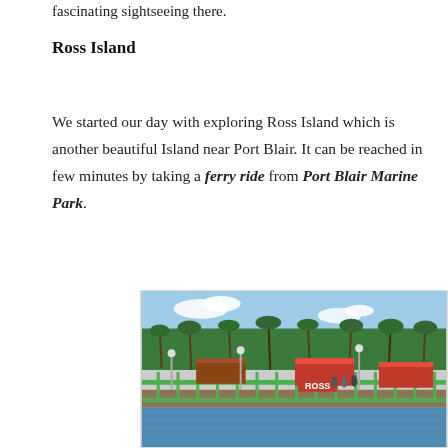fascinating sightseeing there.
Ross Island
We started our day with exploring Ross Island which is another beautiful Island near Port Blair. It can be reached in few minutes by taking a ferry ride from Port Blair Marine Park.
[Figure (photo): Photo of Ross Island jetty/pier with green railings, red-roofed buildings, people on the dock, and palm trees in the background under a blue sky. A red sign reading 'ROSS' is visible.]